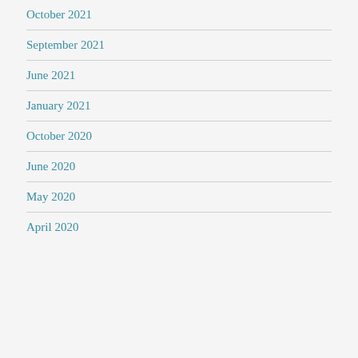October 2021
September 2021
June 2021
January 2021
October 2020
June 2020
May 2020
April 2020